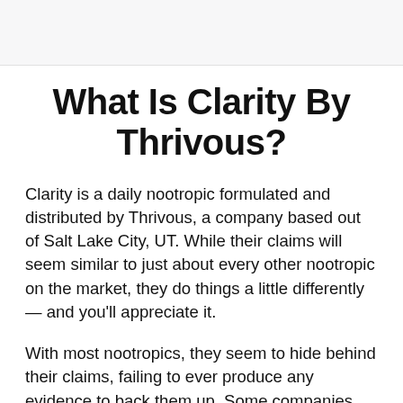What Is Clarity By Thrivous?
Clarity is a daily nootropic formulated and distributed by Thrivous, a company based out of Salt Lake City, UT. While their claims will seem similar to just about every other nootropic on the market, they do things a little differently — and you'll appreciate it.
With most nootropics, they seem to hide behind their claims, failing to ever produce any evidence to back them up. Some companies will go as far as